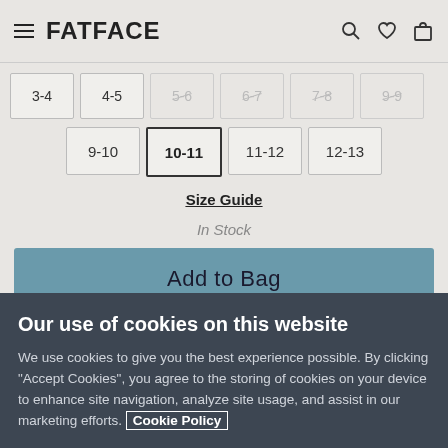FATFACE
Size options row 1: 3-4, 4-5, 5-6 (disabled), 6-7 (disabled), 7-8 (disabled), 9-9 (disabled)
Size options row 2: 9-10, 10-11 (selected), 11-12, 12-13
Size Guide
In Stock
Add to Bag
Our use of cookies on this website
We use cookies to give you the best experience possible. By clicking "Accept Cookies", you agree to the storing of cookies on your device to enhance site navigation, analyze site usage, and assist in our marketing efforts. Cookie Policy